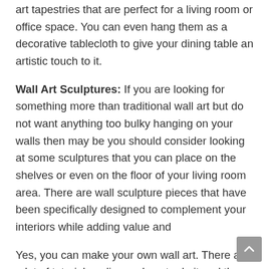art tapestries that are perfect for a living room or office space. You can even hang them as a decorative tablecloth to give your dining table an artistic touch to it.
Wall Art Sculptures: If you are looking for something more than traditional wall art but do not want anything too bulky hanging on your walls then may be you should consider looking at some sculptures that you can place on the shelves or even on the floor of your living room area. There are wall sculpture pieces that have been specifically designed to complement your interiors while adding value and
Yes, you can make your own wall art. There are a lot of tutorials online on how to do it and there is a wide